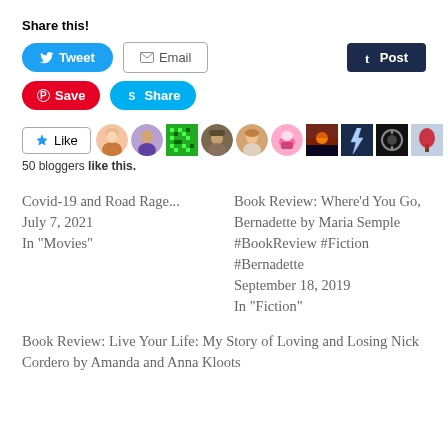Share this!
[Figure (screenshot): Social sharing buttons: Tweet (Twitter, blue), Email (grey outline), Post (Tumblr, dark navy), Save (Pinterest, red), Share (Skype, cyan)]
[Figure (screenshot): Like button with star icon, followed by a row of 10 user avatar thumbnails]
50 bloggers like this.
Covid-19 and Road Rage...
July 7, 2021
In "Movies"
Book Review: Where'd You Go, Bernadette by Maria Semple #BookReview #Fiction #Bernadette
September 18, 2019
In "Fiction"
Book Review: Live Your Life: My Story of Loving and Losing Nick Cordero by Amanda and Anna Kloots